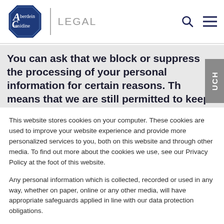[Figure (logo): Aberdein Considine logo with octagonal blue border and 'LEGAL' text in gray]
You can ask that we block or suppress the processing of your personal information for certain reasons. This means that we are still permitted to keep your information - but only to ensure we don't use it in
This website stores cookies on your computer. These cookies are used to improve your website experience and provide more personalized services to you, both on this website and through other media. To find out more about the cookies we use, see our Privacy Policy at the foot of this website.
Any personal information which is collected, recorded or used in any way, whether on paper, online or any other media, will have appropriate safeguards applied in line with our data protection obligations.